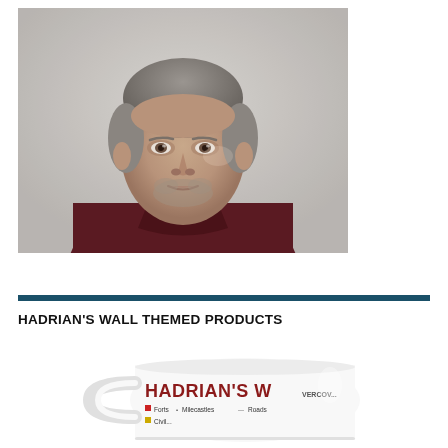[Figure (photo): Portrait photo of a middle-aged man with short grey hair and a short grey beard, wearing a dark maroon/burgundy collared shirt, photographed against a light background, slight smile, looking toward camera.]
[Figure (infographic): A horizontal dark teal/navy divider bar spanning the width of the page.]
HADRIAN'S WALL THEMED PRODUCTS
[Figure (photo): A white ceramic coffee mug with 'HADRIAN'S W...' printed in large dark red letters on the side, with a map/legend of Hadrian's Wall showing Forts, Milecastles, Roads, and place names like VERCOV... The mug handle is visible on the left.]